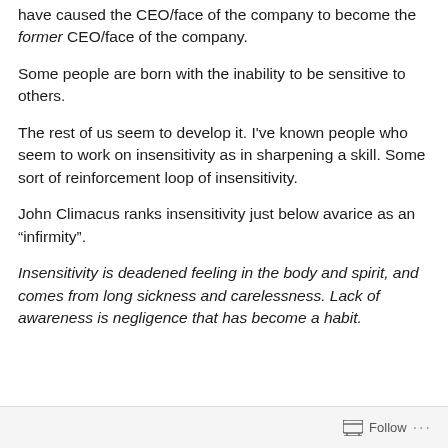have caused the CEO/face of the company to become the former CEO/face of the company.
Some people are born with the inability to be sensitive to others.
The rest of us seem to develop it. I've known people who seem to work on insensitivity as in sharpening a skill. Some sort of reinforcement loop of insensitivity.
John Climacus ranks insensitivity just below avarice as an “infirmity”.
Insensitivity is deadened feeling in the body and spirit, and comes from long sickness and carelessness. Lack of awareness is negligence that has become a habit.
Follow ...